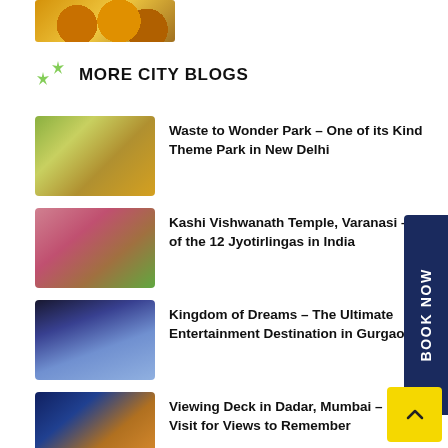[Figure (photo): Food/snack thumbnail image at top of page]
MORE CITY BLOGS
[Figure (photo): Waste to Wonder Park entrance with decorative archway, New Delhi]
Waste to Wonder Park – One of its Kind Theme Park in New Delhi
[Figure (photo): Kashi Vishwanath Temple, Varanasi – pink temple building with greenery]
Kashi Vishwanath Temple, Varanasi – One of the 12 Jyotirlingas in India
[Figure (photo): Kingdom of Dreams illuminated entertainment venue at night, Gurgaon]
Kingdom of Dreams – The Ultimate Entertainment Destination in Gurgaon
[Figure (photo): Aerial night view of Mumbai city and bridge from Viewing Deck, Dadar]
Viewing Deck in Dadar, Mumbai – Visit for Views to Remember